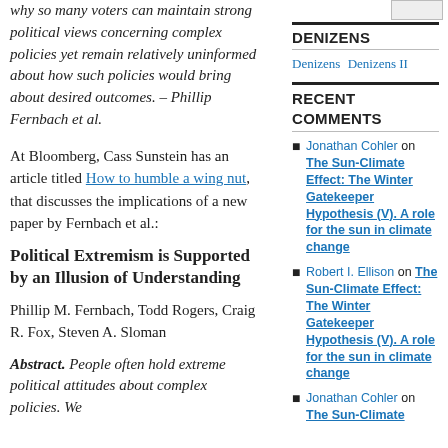why so many voters can maintain strong political views concerning complex policies yet remain relatively uninformed about how such policies would bring about desired outcomes. – Phillip Fernbach et al.
At Bloomberg, Cass Sunstein has an article titled How to humble a wing nut, that discusses the implications of a new paper by Fernbach et al.:
Political Extremism is Supported by an Illusion of Understanding
Phillip M. Fernbach, Todd Rogers, Craig R. Fox, Steven A. Sloman
Abstract.  People often hold extreme political attitudes about complex policies. We
DENIZENS
Denizens  Denizens II
RECENT COMMENTS
Jonathan Cohler on The Sun-Climate Effect: The Winter Gatekeeper Hypothesis (V). A role for the sun in climate change
Robert I. Ellison on The Sun-Climate Effect: The Winter Gatekeeper Hypothesis (V). A role for the sun in climate change
Jonathan Cohler on The Sun-Climate